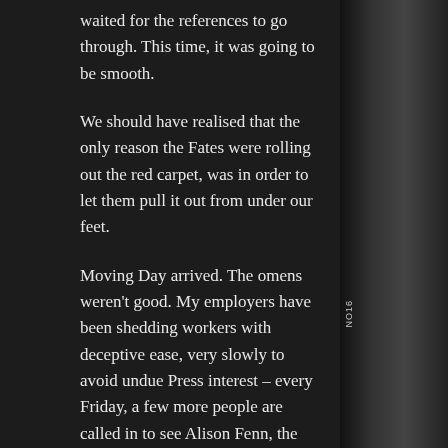waited for the references to go through. This time, it was going to be smooth.
We should have realised that the only reason the Fates were rolling out the red carpet, was in order to let them pull it out from under our feet.
Moving Day arrived. The omens weren't good. My employers have been shedding workers with deceptive ease, very slowly to avoid undue Press interest – every Friday, a few more people are called in to see Alison Fenn, the personnel department's hit-woman, and are never seen again. This Friday, it was our department's turn. At 5.25 pm, my phone rang.
I came down off the ceiling and answered it. It was Vic, our new landlord with a slight problem – the old residents, from whom he was buying the property, had left without giving him the keys. He was trying to contact them. Ok, no hassle, I thought – the keys will turn up before long. I went home, ignoring the